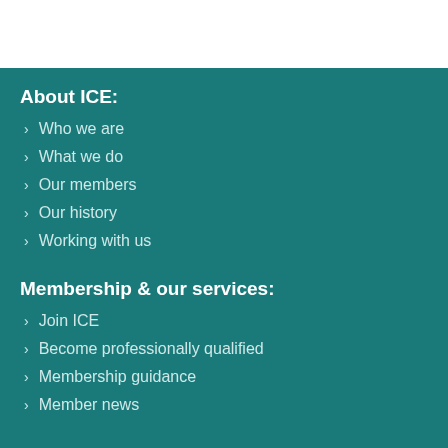About ICE:
Who we are
What we do
Our members
Our history
Working with us
Membership & our services:
Join ICE
Become professionally qualified
Membership guidance
Member news